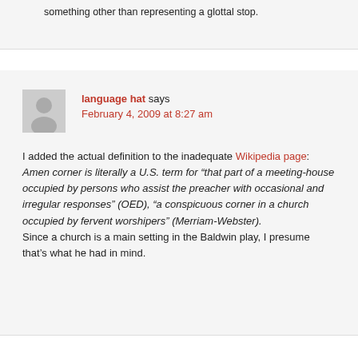something other than representing a glottal stop.
language hat says
February 4, 2009 at 8:27 am
I added the actual definition to the inadequate Wikipedia page: Amen corner is literally a U.S. term for “that part of a meeting-house occupied by persons who assist the preacher with occasional and irregular responses” (OED), “a conspicuous corner in a church occupied by fervent worshipers” (Merriam-Webster). Since a church is a main setting in the Baldwin play, I presume that’s what he had in mind.